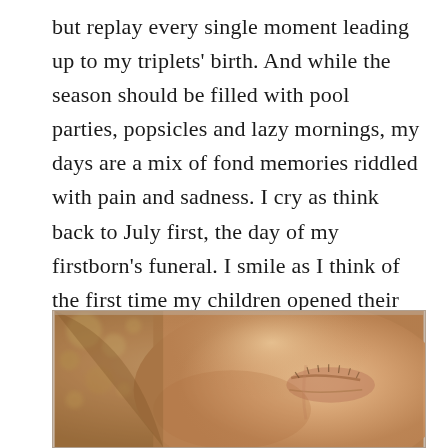but replay every single moment leading up to my triplets' birth. And while the season should be filled with pool parties, popsicles and lazy mornings, my days are a mix of fond memories riddled with pain and sadness. I cry as think back to July first, the day of my firstborn's funeral. I smile as I think of the first time my children opened their eyes to see the world. And I feel nauseous as I replay the meeting doctors held when we found out the devastating news that our little boy was gravely.
[Figure (photo): Close-up photograph of what appears to be a newborn baby's face, showing skin with a warm peach/golden tone, closed eyes with visible eyelashes, and soft features. The image has a slightly blurred, intimate quality.]